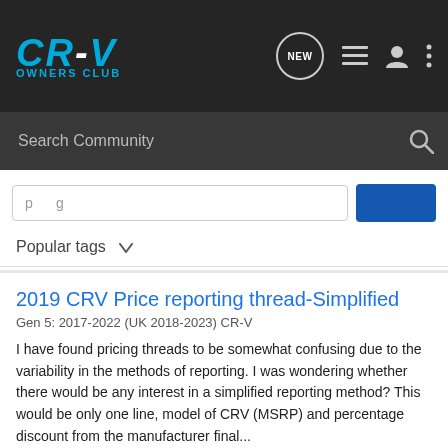CR-V OWNERS CLUB
Search Community
Popular tags
2019 CRV Price reporting thread-Simplified
Gen 5: 2017-2022 (UK 2018-2023) CR-V
I have found pricing threads to be somewhat confusing due to the variability in the methods of reporting. I was wondering whether there would be any interest in a simplified reporting method? This would be only one line, model of CRV (MSRP) and percentage discount from the manufacturer final...
1   2K
gh05 · Feb 24, 2019